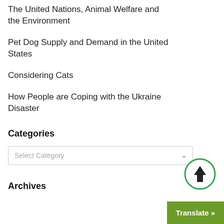The United Nations, Animal Welfare and the Environment
Pet Dog Supply and Demand in the United States
Considering Cats
How People are Coping with the Ukraine Disaster
Categories
Select Category
Archives
Translate »